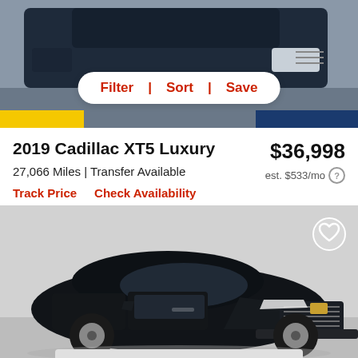[Figure (photo): Top portion of a car listing page showing a dark SUV at top with Filter, Sort, Save navigation bar overlay]
2019 Cadillac XT5 Luxury
$36,998
27,066 Miles | Transfer Available
est. $533/mo
Track Price
Check Availability
[Figure (photo): Black 2019 Cadillac XT5 Luxury SUV photographed from front-left angle in a dealership studio setting with white heart/favorite icon in top right corner]